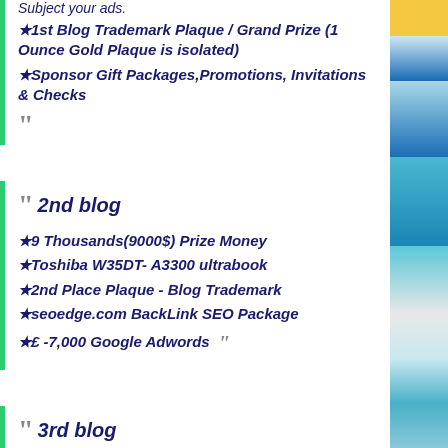★1st Blog Trademark Plaque / Grand Prize (1 Ounce Gold Plaque is isolated)
★Sponsor Gift Packages,Promotions, Invitations & Checks
2nd blog
★9 Thousands(9000$) Prize Money
★Toshiba W35DT- A3300 ultrabook
★2nd Place Plaque - Blog Trademark
★seoedge.com BackLink SEO Package
★£ -7,000 Google Adwords
3rd blog
★6 Thousands (6000$) Prize Money
★Canon EOS 1100D Photo Machine